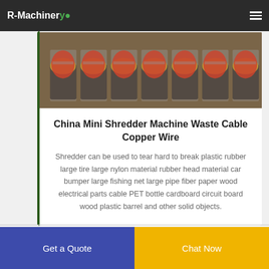R-Machinery
[Figure (photo): Photo of multiple mini shredder machines with red tops and yellow bases, wrapped in plastic, lined up in a row]
China Mini Shredder Machine Waste Cable Copper Wire
Shredder can be used to tear hard to break plastic rubber large tire large nylon material rubber head material car bumper large fishing net large pipe fiber paper wood electrical parts cable PET bottle cardboard circuit board wood plastic barrel and other solid objects.